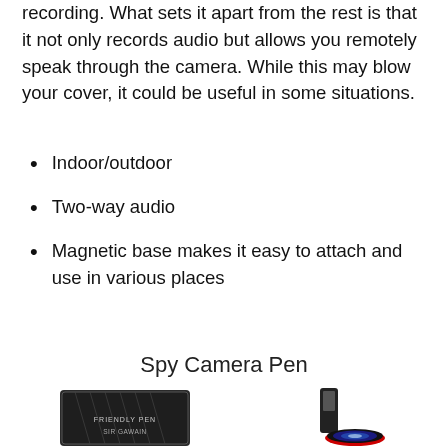recording. What sets it apart from the rest is that it not only records audio but allows you remotely speak through the camera. While this may blow your cover, it could be useful in some situations.
Indoor/outdoor
Two-way audio
Magnetic base makes it easy to attach and use in various places
Spy Camera Pen
[Figure (photo): Product photo showing a Friendly Pen branded box (dark with geometric diamond pattern, labeled 'SIR GAWAIN') on the left and a spy camera pen with a large lens attachment on the right.]